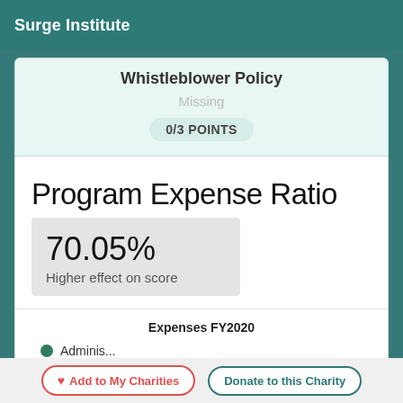Surge Institute
Whistleblower Policy
Missing
0/3 POINTS
Program Expense Ratio
70.05%
Higher effect on score
Expenses FY2020
Adminis...
Add to My Charities   Donate to this Charity